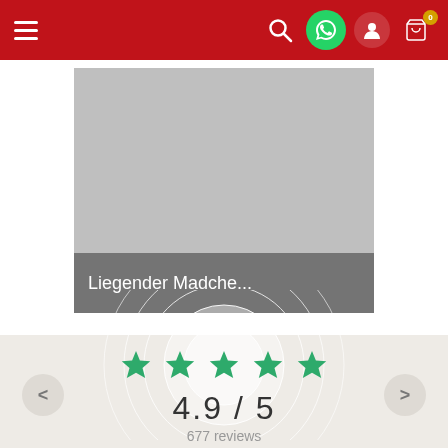[Figure (screenshot): Website navigation bar with red background, hamburger menu on left, search, WhatsApp, user, and cart icons on right with badge showing 0]
[Figure (photo): Product image placeholder (gray rectangle) with dark overlay label showing 'Liegender Madche...']
Liegender Madche...
[Figure (infographic): Review section with decorative concentric circles background, 5 green stars, rating 4.9/5, 677 reviews, with left and right navigation arrows]
4.9 / 5
677 reviews